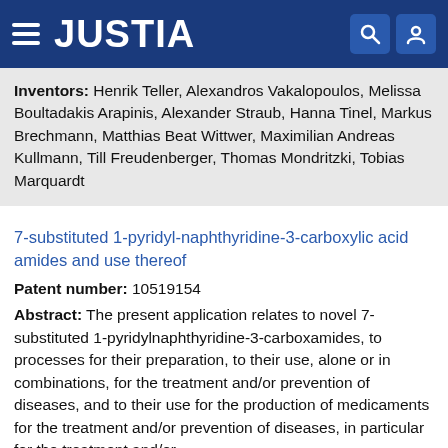JUSTIA
Inventors: Henrik Teller, Alexandros Vakalopoulos, Melissa Boultadakis Arapinis, Alexander Straub, Hanna Tinel, Markus Brechmann, Matthias Beat Wittwer, Maximilian Andreas Kullmann, Till Freudenberger, Thomas Mondritzki, Tobias Marquardt
7-substituted 1-pyridyl-naphthyridine-3-carboxylic acid amides and use thereof
Patent number: 10519154
Abstract: The present application relates to novel 7-substituted 1-pyridylnaphthyridine-3-carboxamides, to processes for their preparation, to their use, alone or in combinations, for the treatment and/or prevention of diseases, and to their use for the production of medicaments for the treatment and/or prevention of diseases, in particular for the treatment and/or